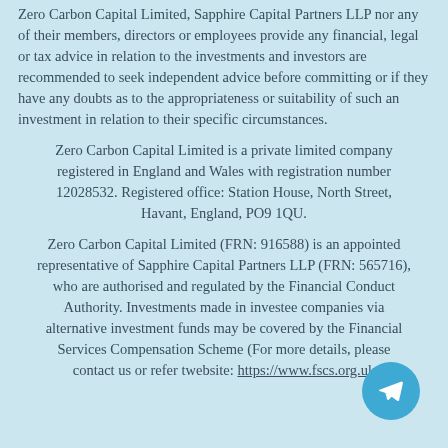Zero Carbon Capital Limited, Sapphire Capital Partners LLP nor any of their members, directors or employees provide any financial, legal or tax advice in relation to the investments and investors are recommended to seek independent advice before committing or if they have any doubts as to the appropriateness or suitability of such an investment in relation to their specific circumstances.
Zero Carbon Capital Limited is a private limited company registered in England and Wales with registration number 12028532. Registered office: Station House, North Street, Havant, England, PO9 1QU.
Zero Carbon Capital Limited (FRN: 916588) is an appointed representative of Sapphire Capital Partners LLP (FRN: 565716), who are authorised and regulated by the Financial Conduct Authority. Investments made in investee companies via alternative investment funds may be covered by the Financial Services Compensation Scheme (F... or more details, please contact us or refer t... website: https://www.fscs.org.uk